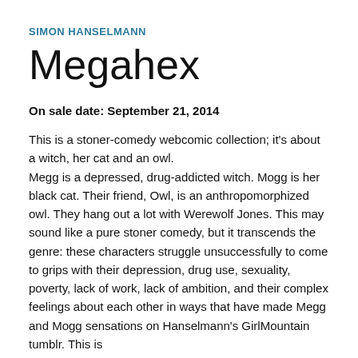SIMON HANSELMANN
Megahex
On sale date: September 21, 2014
This is a stoner-comedy webcomic collection; it's about a witch, her cat and an owl. Megg is a depressed, drug-addicted witch. Mogg is her black cat. Their friend, Owl, is an anthropomorphized owl. They hang out a lot with Werewolf Jones. This may sound like a pure stoner comedy, but it transcends the genre: these characters struggle unsuccessfully to come to grips with their depression, drug use, sexuality, poverty, lack of work, lack of ambition, and their complex feelings about each other in ways that have made Megg and Mogg sensations on Hanselmann's GirlMountain tumblr. This is